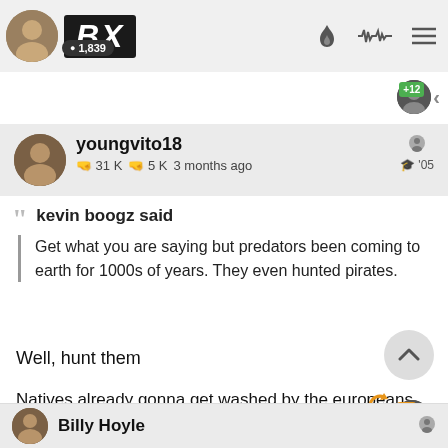BX | 1,839
youngvito18 | 31K | 5K | 3 months ago | '05
kevin boogz said
Get what you are saying but predators been coming to earth for 1000s of years. They even hunted pirates.
Well, hunt them
Natives already gonna get washed by the europeans
Billy Hoyle